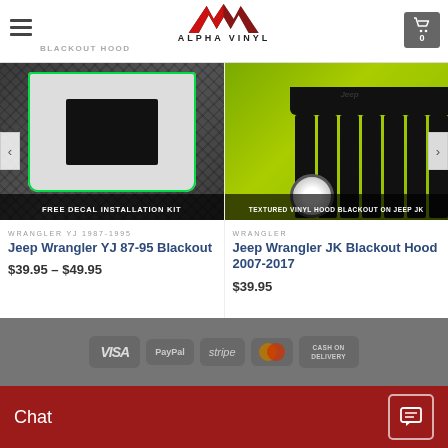[Figure (screenshot): Alpha Vinyl website header with hamburger menu, logo (red/black AV chevron mark with ALPHA VINYL text), and cart icon showing 0 items. Below header text: BLACKOUT HOOD]
[Figure (photo): Jeep Wrangler YJ hood blackout kit product image with green rectangle outline and text FREE DECAL INSTALLATION KIT]
WRANGLER YJ 1987-1995
Jeep Wrangler YJ 87-95 Blackout
$39.95 – $49.95
[Figure (photo): Jeep Wrangler JK with textured vinyl hood blackout installed, neon green vehicle, text: TEXTURED VINYL HOOD BLACKOUT ON JEEP JK]
WRANGLER
Jeep Wrangler JK Blackout Hood 2007-2017
$39.95
[Figure (infographic): Payment method icons: VISA, PayPal, stripe, MasterCard, CASH ON DELIVERY]
Chat